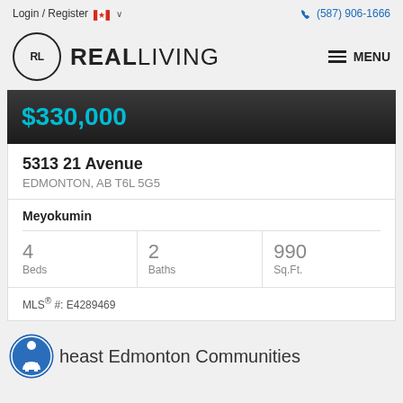Login / Register  (587) 906-1666
[Figure (logo): Real Living real estate logo with RL in circle and REALLIVING wordmark]
$330,000
5313 21 Avenue
EDMONTON, AB T6L 5G5
Meyokumin
4 Beds  2 Baths  990 Sq.Ft.
MLS® #: E4289469
heast Edmonton Communities